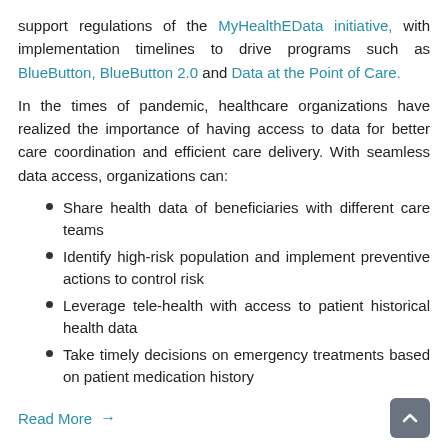support regulations of the MyHealthEData initiative, with implementation timelines to drive programs such as BlueButton, BlueButton 2.0 and Data at the Point of Care.
In the times of pandemic, healthcare organizations have realized the importance of having access to data for better care coordination and efficient care delivery. With seamless data access, organizations can:
Share health data of beneficiaries with different care teams
Identify high-risk population and implement preventive actions to control risk
Leverage tele-health with access to patient historical health data
Take timely decisions on emergency treatments based on patient medication history
Read More →